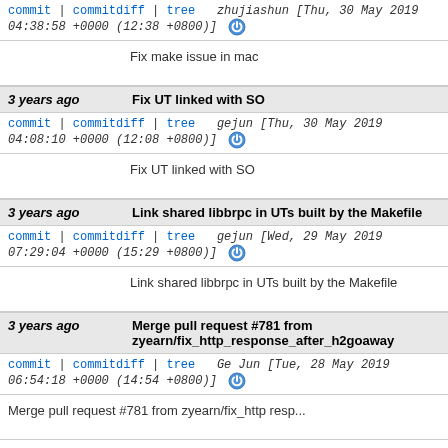commit | commitdiff | tree  zhujiashun [Thu, 30 May 2019 04:38:58 +0000 (12:38 +0800)]
Fix make issue in mac
3 years ago  Fix UT linked with SO
commit | commitdiff | tree  gejun [Thu, 30 May 2019 04:08:10 +0000 (12:08 +0800)]
Fix UT linked with SO
3 years ago  Link shared libbrpc in UTs built by the Makefile
commit | commitdiff | tree  gejun [Wed, 29 May 2019 07:29:04 +0000 (15:29 +0800)]
Link shared libbrpc in UTs built by the Makefile
3 years ago  Merge pull request #781 from zyearn/fix_http_response_after_h2goaway
commit | commitdiff | tree  Ge Jun [Tue, 28 May 2019 06:54:18 +0000 (14:54 +0800)]
Merge pull request #781 from zyearn/fix_http resp...